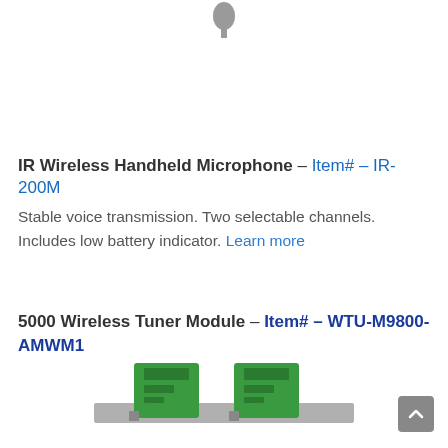[Figure (photo): Partial top view of an IR Wireless Handheld Microphone product image, cropped at top of page]
IR Wireless Handheld Microphone – Item# – IR-200M
Stable voice transmission. Two selectable channels. Includes low battery indicator. Learn more
5000 Wireless Tuner Module – Item# – WTU-M9800-AMWM1
[Figure (photo): Partial bottom view of green circuit board modules for 5000 Wireless Tuner Module product, cropped at bottom of page]